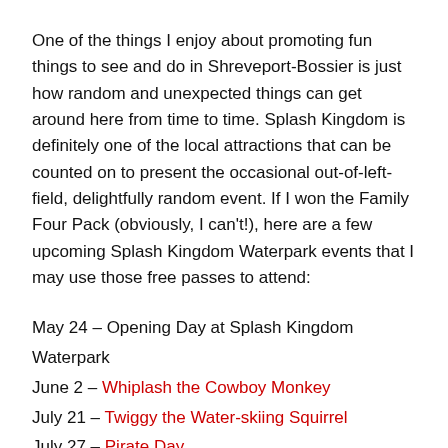One of the things I enjoy about promoting fun things to see and do in Shreveport-Bossier is just how random and unexpected things can get around here from time to time. Splash Kingdom is definitely one of the local attractions that can be counted on to present the occasional out-of-left-field, delightfully random event. If I won the Family Four Pack (obviously, I can't!), here are a few upcoming Splash Kingdom Waterpark events that I may use those free passes to attend:
May 24 – Opening Day at Splash Kingdom Waterpark
June 2 – Whiplash the Cowboy Monkey
July 21 – Twiggy the Water-skiing Squirrel
July 27 – Pirate Day